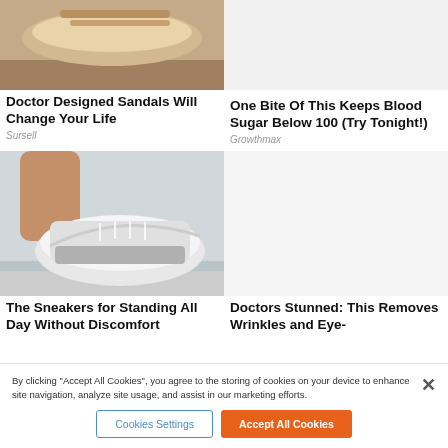[Figure (photo): Photo of sandals from above on light background]
Doctor Designed Sandals Will Change Your Life
Sursell
One Bite Of This Keeps Blood Sugar Below 100 (Try Tonight!)
Growthmax
[Figure (photo): Photo of person putting on white knit sneakers on wooden floor]
[Figure (photo): Blank/empty right column image area]
The Sneakers for Standing All Day Without Discomfort
Doctors Stunned: This Removes Wrinkles and Eye-
By clicking "Accept All Cookies", you agree to the storing of cookies on your device to enhance site navigation, analyze site usage, and assist in our marketing efforts.
Cookies Settings
Accept All Cookies